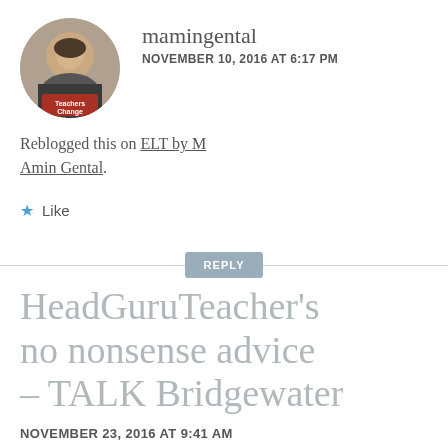[Figure (photo): Circular avatar photo of a man in a suit with a 'Teachers Change Lives' badge overlay]
mamingental
NOVEMBER 10, 2016 AT 6:17 PM
Reblogged this on ELT by M Amin Gental.
Like
REPLY
HeadGuruTeacher's no nonsense advice – TALK Bridgewater
NOVEMBER 23, 2016 AT 9:41 AM